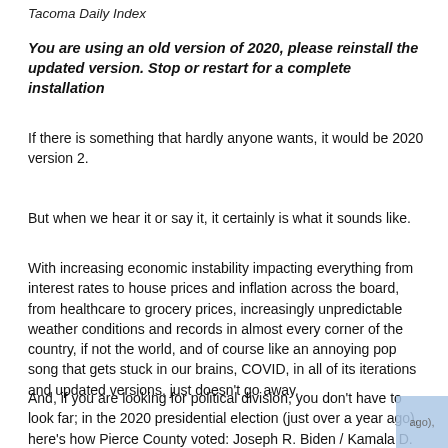Tacoma Daily Index
You are using an old version of 2020, please reinstall the updated version. Stop or restart for a complete installation
If there is something that hardly anyone wants, it would be 2020 version 2.
But when we hear it or say it, it certainly is what it sounds like.
With increasing economic instability impacting everything from interest rates to house prices and inflation across the board, from healthcare to grocery prices, increasingly unpredictable weather conditions and records in almost every corner of the country, if not the world, and of course like an annoying pop song that gets stuck in our brains, COVID, in all of its iterations and updated versions, just doesn't go away.
And, if you are looking for political division, you don't have to look far; in the 2020 presidential election (just over a year ago), here's how Pierce County voted: Joseph R. Biden / Kamala D.